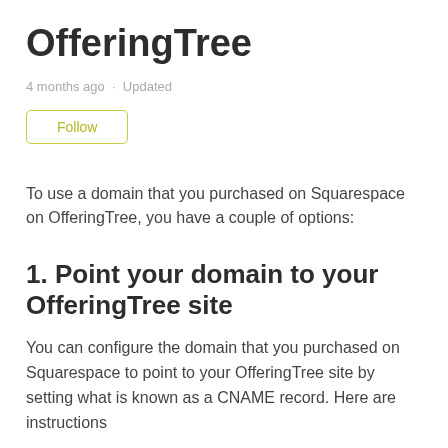OfferingTree
4 months ago · Updated
Follow
To use a domain that you purchased on Squarespace on OfferingTree, you have a couple of options:
1. Point your domain to your OfferingTree site
You can configure the domain that you purchased on Squarespace to point to your OfferingTree site by setting what is known as a CNAME record. Here are instructions